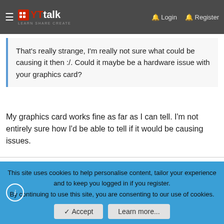YTtalk — Login | Register
That's really strange, I'm really not sure what could be causing it then :/. Could it maybe be a hardware issue with your graphics card?
My graphics card works fine as far as I can tell. I'm not entirely sure how I'd be able to tell if it would be causing issues.
Stike96
I Love YTtalk
Joined: Oct 13, 2013  Messages: 1,988  Reaction score: 737
Age: 25  Location: Huddersfield, West Yorkshire, England
Channel Type: Youtuber
This site uses cookies to help personalise content, tailor your experience and to keep you logged in if you register.
By continuing to use this site, you are consenting to our use of cookies.
Accept  Learn more...